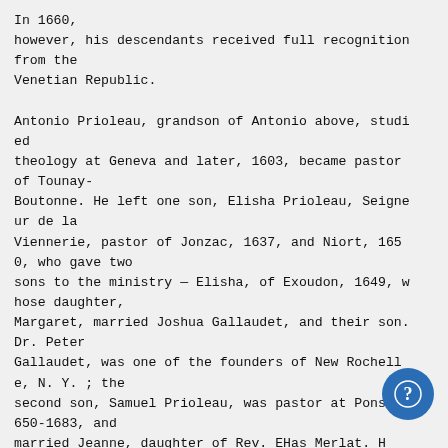In 1660, however, his descendants received full recognition from the Venetian Republic.

Antonio Prioleau, grandson of Antonio above, studied theology at Geneva and later, 1603, became pastor of Tounay-Boutonne. He left one son, Elisha Prioleau, Seigneur de la Viennerie, pastor of Jonzac, 1637, and Niort, 1650, who gave two sons to the ministry — Elisha, of Exoudon, 1649, whose daughter, Margaret, married Joshua Gallaudet, and their son. Dr. Peter Gallaudet, was one of the founders of New Rochelle, N. Y. ; the second son, Samuel Prioleau, was pastor at Pons, 1650-1683, and married Jeanne, daughter of Rev. EHas Merlat. H ied in February, 1683, leaving a son, Elias, born 1659, w
[Figure (other): A circular help/question mark button icon in the bottom right corner]